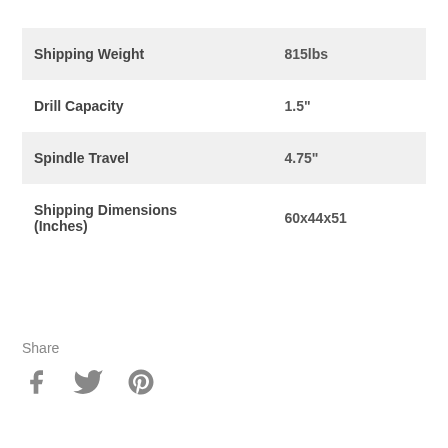| Shipping Weight | 815lbs |
| Drill Capacity | 1.5" |
| Spindle Travel | 4.75" |
| Shipping Dimensions (Inches) | 60x44x51 |
Share